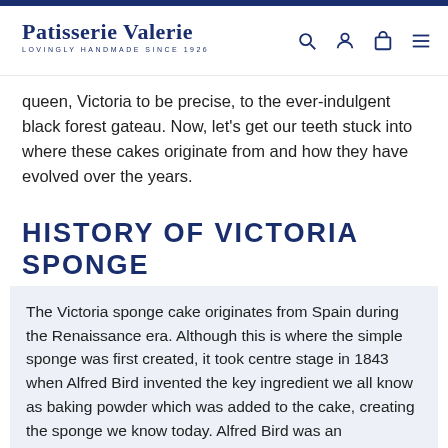Patisserie Valerie — LOVINGLY HANDMADE SINCE 1926
queen, Victoria to be precise, to the ever-indulgent black forest gateau. Now, let's get our teeth stuck into where these cakes originate from and how they have evolved over the years.
HISTORY OF VICTORIA SPONGE
The Victoria sponge cake originates from Spain during the Renaissance era. Although this is where the simple sponge was first created, it took centre stage in 1843 when Alfred Bird invented the key ingredient we all know as baking powder which was added to the cake, creating the sponge we know today. Alfred Bird was an Englishman who was involved in food development and manufacturing. Adding baking powder to the original sponge cake elevated it and allowed for a much higher